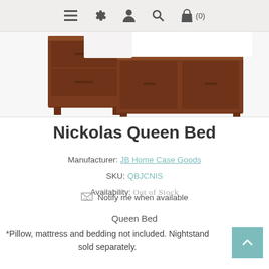Navigation bar with menu, settings, account, search, cart (0) icons
[Figure (photo): Photograph of a dark walnut queen bed frame (Nickolas Queen Bed) with white bedding, showing the headboard and footboard with storage drawers.]
Nickolas Queen Bed
Manufacturer: JB Home Case Goods
SKU: QBJCNIS
Availability: Out of Stock
Notify me when available
Queen Bed
*Pillow, mattress and bedding not included. Nightstand sold separately.